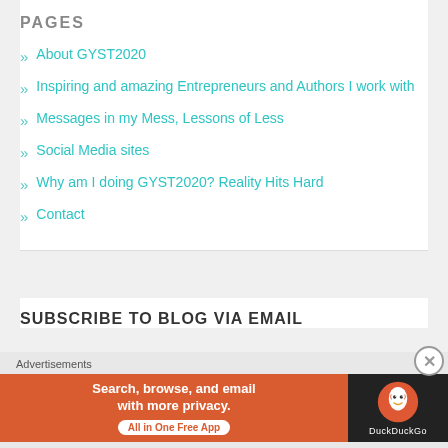PAGES
About GYST2020
Inspiring and amazing Entrepreneurs and Authors I work with
Messages in my Mess, Lessons of Less
Social Media sites
Why am I doing GYST2020? Reality Hits Hard
Contact
SUBSCRIBE TO BLOG VIA EMAIL
Advertisements
[Figure (screenshot): DuckDuckGo advertisement banner: 'Search, browse, and email with more privacy. All in One Free App' with DuckDuckGo logo on dark background]